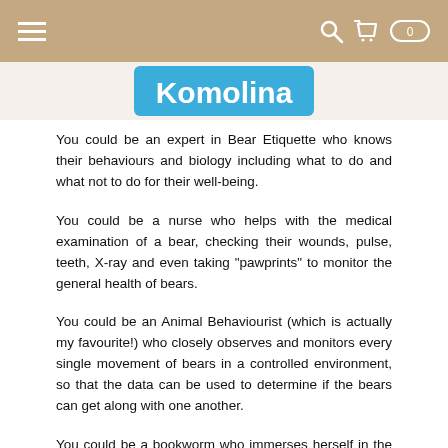navigation header with hamburger menu and cart icons
[Figure (logo): Partial logo text reading 'Komolina' on a blue background, partially cropped at top]
You could be an expert in Bear Etiquette who knows their behaviours and biology including what to do and what not to do for their well-being.
You could be a nurse who helps with the medical examination of a bear, checking their wounds, pulse, teeth, X-ray and even taking "pawprints" to monitor the general health of bears.
You could be an Animal Behaviourist (which is actually my favourite!) who closely observes and monitors every single movement of bears in a controlled environment, so that the data can be used to determine if the bears can get along with one another.
You could be a bookworm who immerses herself in the story of a man's quest to save Bornean sun bears, Dr. Wong Siew Te